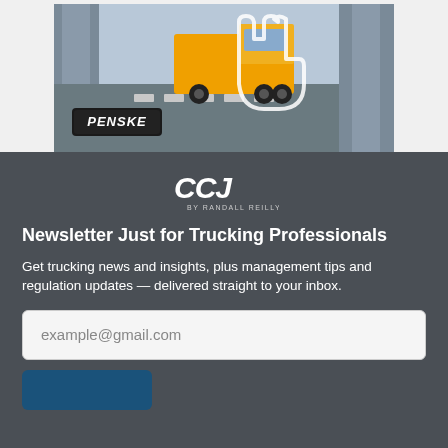[Figure (photo): Penske advertisement showing a yellow truck in a loading dock environment with a hand pointer icon overlay and PENSKE logo badge in the lower left]
[Figure (logo): CCJ by Randall Reilly logo — stylized CCJ letters in white with italic sans-serif, with 'BY RANDALL REILLY' text below]
Newsletter Just for Trucking Professionals
Get trucking news and insights, plus management tips and regulation updates — delivered straight to your inbox.
example@gmail.com